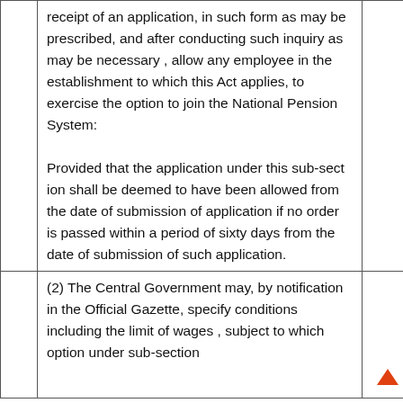receipt of an application, in such form as may be prescribed, and after conducting such inquiry as may be necessary , allow any employee in the establishment to which this Act applies, to exercise the option to join the National Pension System:

Provided that the application under this sub-sect ion shall be deemed to have been allowed from the date of submission of application if no order is passed within a period of sixty days from the date of submission of such application.
(2) The Central Government may, by notification in the Official Gazette, specify conditions including the limit of wages , subject to which option under sub-section